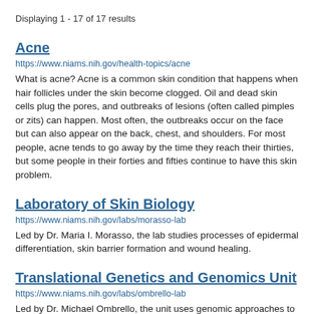Displaying 1 - 17 of 17 results
Acne
https://www.niams.nih.gov/health-topics/acne
What is acne? Acne is a common skin condition that happens when hair follicles under the skin become clogged. Oil and dead skin cells plug the pores, and outbreaks of lesions (often called pimples or zits) can happen. Most often, the outbreaks occur on the face but can also appear on the back, chest, and shoulders. For most people, acne tends to go away by the time they reach their thirties, but some people in their forties and fifties continue to have this skin problem.
Laboratory of Skin Biology
https://www.niams.nih.gov/labs/morasso-lab
Led by Dr. Maria I. Morasso, the lab studies processes of epidermal differentiation, skin barrier formation and wound healing.
Translational Genetics and Genomics Unit
https://www.niams.nih.gov/labs/ombrello-lab
Led by Dr. Michael Ombrello, the unit uses genomic approaches to understand the underlying factors of autoinflammatory and